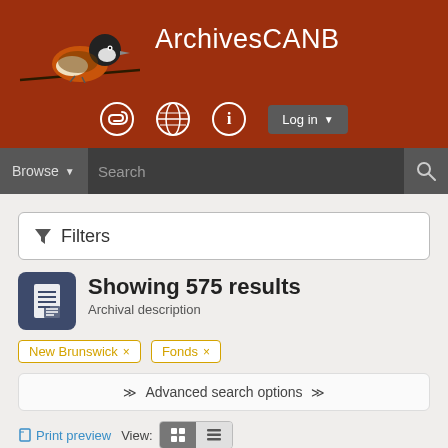ArchivesCANB
[Figure (logo): ArchivesCANB bird logo - chickadee on branch]
Filters
Showing 575 results
Archival description
New Brunswick ×
Fonds ×
Advanced search options
Print preview   View:   Sort by: Start date ▾  Direction: Ascending ▾